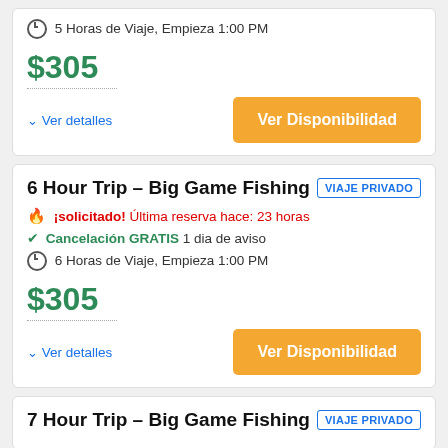5 Horas de Viaje, Empieza 1:00 PM
$305
Ver detalles
Ver Disponibilidad
6 Hour Trip – Big Game Fishing
VIAJE PRIVADO
¡solicitado! Última reserva hace: 23 horas
Cancelación GRATIS 1 dia de aviso
6 Horas de Viaje, Empieza 1:00 PM
$305
Ver detalles
Ver Disponibilidad
7 Hour Trip – Big Game Fishing
VIAJE PRIVADO